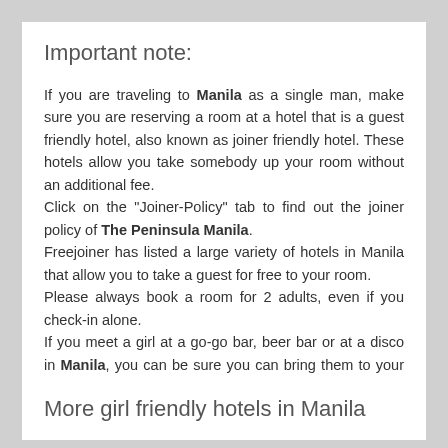Important note:
If you are traveling to Manila as a single man, make sure you are reserving a room at a hotel that is a guest friendly hotel, also known as joiner friendly hotel. These hotels allow you take somebody up your room without an additional fee.
Click on the "Joiner-Policy" tab to find out the joiner policy of The Peninsula Manila.
Freejoiner has listed a large variety of hotels in Manila that allow you to take a guest for free to your room.
Please always book a room for 2 adults, even if you check-in alone.
If you meet a girl at a go-go bar, beer bar or at a disco in Manila, you can be sure you can bring them to your room at no additional charge.
More girl friendly hotels in Manila